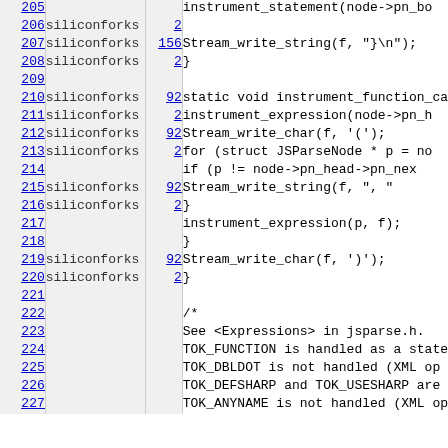| Line | Author | Rev | Code |
| --- | --- | --- | --- |
| 205 |  |  | instrument_statement(node->pn_bo |
| 206 | siliconforks | 2 |  |
| 207 | siliconforks | 156 |     Stream_write_string(f, "}\n"); |
| 208 | siliconforks | 2 | } |
| 209 |  |  |  |
| 210 | siliconforks | 92 | static void instrument_function_ca |
| 211 | siliconforks | 2 |     instrument_expression(node->pn_h |
| 212 | siliconforks | 92 |     Stream_write_char(f, '('); |
| 213 | siliconforks | 2 |     for (struct JSParseNode * p = no |
| 214 |  |  |         if (p != node->pn_head->pn_nex |
| 215 | siliconforks | 92 |             Stream_write_string(f, ", " |
| 216 | siliconforks | 2 |         } |
| 217 |  |  |         instrument_expression(p, f); |
| 218 |  |  |     } |
| 219 | siliconforks | 92 |     Stream_write_char(f, ')'); |
| 220 | siliconforks | 2 | } |
| 221 |  |  |  |
| 222 |  |  | /* |
| 223 |  |  | See <Expressions> in jsparse.h. |
| 224 |  |  | TOK_FUNCTION is handled as a state |
| 225 |  |  | TOK_DBLDOT is not handled (XML op |
| 226 |  |  | TOK_DEFSHARP and TOK_USESHARP are |
| 227 |  |  | TOK_ANYNAME is not handled (XML op |